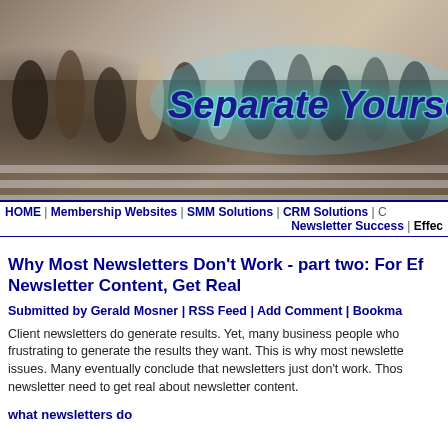[Figure (photo): Banner image of a crowd of people crossing a street (motion blurred), with large italic bold text overlay reading 'Separate Yourself from' in dark blue with cyan glow effect]
HOME | Membership Websites | SMM Solutions | CRM Solutions | ... Newsletter Success | Effec...
Why Most Newsletters Don't Work - part two: For Ef... Newsletter Content, Get Real
Submitted by Gerald Mosner | RSS Feed | Add Comment | Bookma...
Client newsletters do generate results. Yet, many business people who ... frustrating to generate the results they want. This is why most newslette... issues. Many eventually conclude that newsletters just don't work. Thos... newsletter need to get real about newsletter content.
what newsletters do